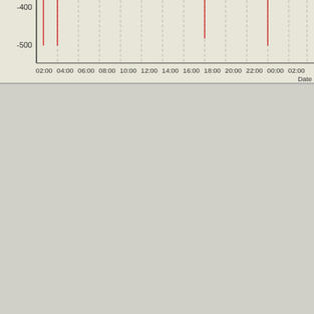[Figure (continuous-plot): Top portion of a jitter time-series chart showing values around -400 to -500 range with red spikes, x-axis showing time from 02:00 to 02:00]
[Figure (continuous-plot): Jitter vs time chart showing red (instantaneous jitter) and green (smoothed/max jitter) traces. Y-axis: Jitter in microseconds 0-500. X-axis: time from ~03:00 to past 02:00 next day. Red line stays near 0 with tall narrow spikes up to ~475. Green line shows sawtooth pattern declining from ~500 to ~175 then jumping back up repeatedly at ~06:00, ~09:00, ~17:00, ~18:30, ~00:00. Label 'Jitter ve...' in blue top right. Y-axis label 'Jitter - μs' in red. X-axis label 'Date & T' at bottom right.]